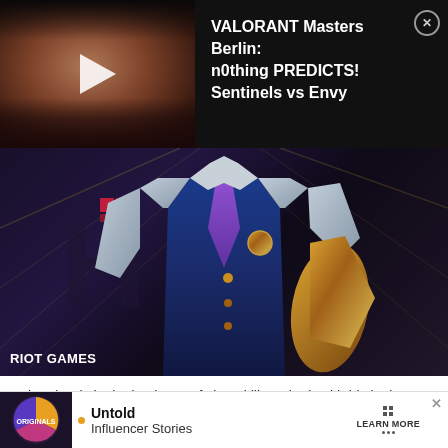[Figure (screenshot): Video thumbnail showing a bearded man with play button overlay, alongside dark background with video title text and close button]
VALORANT Masters Berlin: n0thing PREDICTS! Sentinels vs Envy
[Figure (photo): Riot Games promotional image of Chamber character from VALORANT, wearing a blue vest with gold metal arm, purple tie, on a dark geometric background. 'RIOT GAMES' label in bottom left.]
Chamber is in the business of clean kills — both with his looks and his arsenal.
Chamber's abilities in Va
[Figure (other): Advertisement banner showing Originals logo (colorful circle), bullet point, 'Untold Influencer Stories', 'LEARN MORE' button, and X close button]